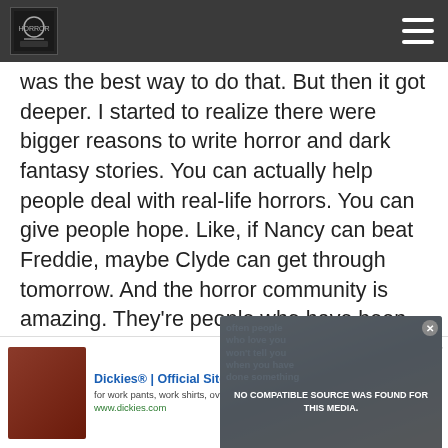was the best way to do that. But then it got deeper. I started to realize there were bigger reasons to write horror and dark fantasy stories. You can actually help people deal with real-life horrors. You can give people hope. Like, if Nancy can beat Freddie, maybe Clyde can get through tomorrow. And the horror community is amazing. They’re people who have been into the darkness, and they don’t want anyone to be left there.
[Figure (screenshot): Video player overlay showing 'NO COMPATIBLE SOURCE WAS FOUND FOR THIS MEDIA.' error message with an X close button, overlaid on a background image with text 'often people who love you won't tell you when you have done something']
Selene – Is all your work published with Omnium Gatherum? What’s it like working w... ous because I’ve seen
[Figure (screenshot): Advertisement banner for Dickies Official Site - Workwear & Apparel. Shows 'for work pants, work shirts, overalls, and coveralls.' with url www.dickies.com and a purple play/go button.]